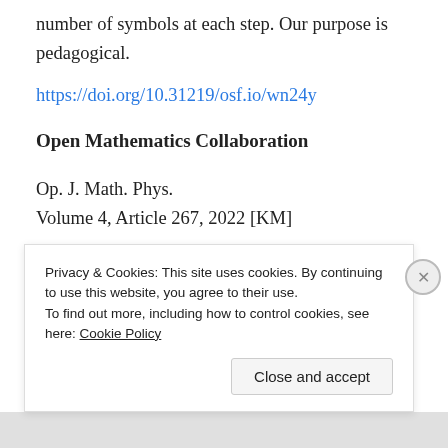number of symbols at each step. Our purpose is pedagogical.
https://doi.org/10.31219/osf.io/wn24y
Open Mathematics Collaboration
Op. J. Math. Phys.
Volume 4, Article 267, 2022 [KM]
Share this:
Privacy & Cookies: This site uses cookies. By continuing to use this website, you agree to their use.
To find out more, including how to control cookies, see here: Cookie Policy
Close and accept